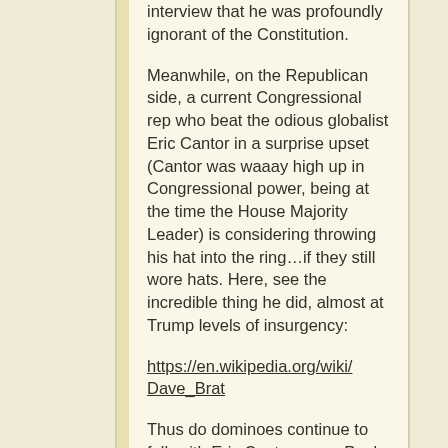interview that he was profoundly ignorant of the Constitution.
Meanwhile, on the Republican side, a current Congressional rep who beat the odious globalist Eric Cantor in a surprise upset (Cantor was waaay high up in Congressional power, being at the time the House Majority Leader) is considering throwing his hat into the ring…if they still wore hats. Here, see the incredible thing he did, almost at Trump levels of insurgency:
https://en.wikipedia.org/wiki/Dave_Brat
Thus do dominoes continue to fall: with Eric Cantor gone, Paul Ryan was able to move into the vacuum and become